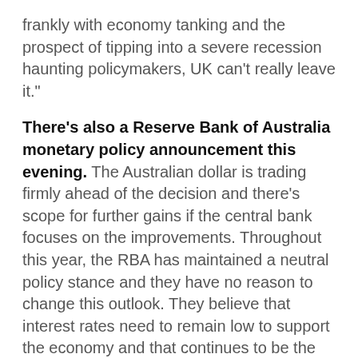frankly with economy tanking and the prospect of tipping into a severe recession haunting policymakers, UK can't really leave it."
There's also a Reserve Bank of Australia monetary policy announcement this evening. The Australian dollar is trading firmly ahead of the decision and there's scope for further gains if the central bank focuses on the improvements. Throughout this year, the RBA has maintained a neutral policy stance and they have no reason to change this outlook. They believe that interest rates need to remain low to support the economy and that continues to be the case. For the time being, the Australian economy continues to fend off Chinese weakness. Although not many jobs were created in September, the unemployment rate dropped to a 6 year low. Inflationary pressures eased slightly in Q3, but retail sales, business and consumer confidence improved. Nonetheless, the